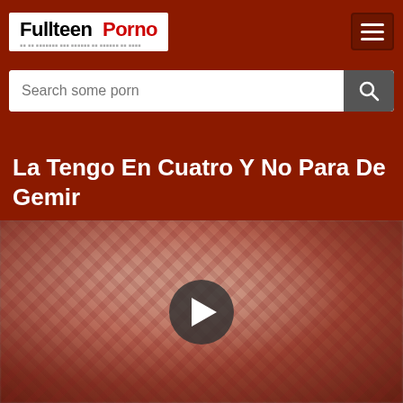[Figure (logo): Fullteen Porno website logo — white background box with black bold 'Fullteen' and red bold 'Porno' text]
[Figure (screenshot): Hamburger menu button (three horizontal white lines) on dark red background]
[Figure (screenshot): Search bar with placeholder 'Search some porn' and a dark search icon button]
La Tengo En Cuatro Y No Para De Gemir
[Figure (photo): Blurred video thumbnail showing fabric/skin tones with a circular dark play button overlay in the center]